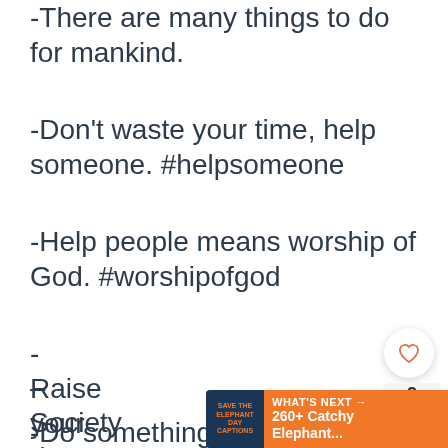-There are many things to do for mankind.
-Don't waste your time, help someone. #helpsomeone
-Help people means worship of God. #worshipofgod
-Raise your hands and help people in the community. #raiseyourhands
– Society does not need wealthy people, they need rich people by heart.
-Do something for your society. #society
[Figure (infographic): Heart/like button (outlined heart icon in white circle with shadow), share count badge showing '2', orange circular share button with share icon, and orange 'WHAT'S NEXT' banner with elephant caption thumbnail]